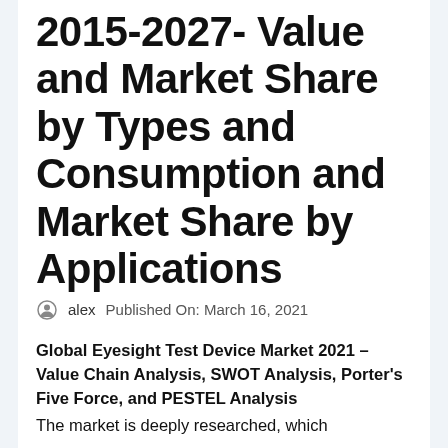2015-2027- Value and Market Share by Types and Consumption and Market Share by Applications
alex   Published On: March 16, 2021
Global Eyesight Test Device Market 2021 – Value Chain Analysis, SWOT Analysis, Porter's Five Force, and PESTEL Analysis
The market is deeply researched, which